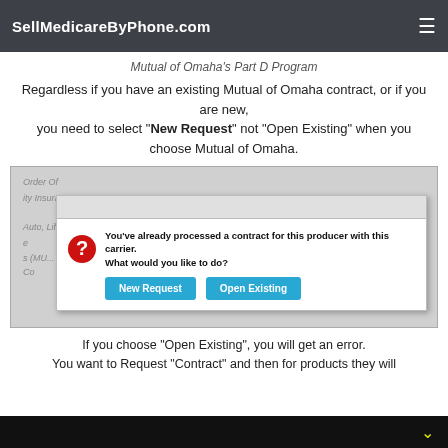SellMedicareByPhone.com
Mutual of Omaha's Part D Program
Regardless if you have an existing Mutual of Omaha contract, or if you are new, you need to select “New Request” not “Open Existing” when you choose Mutual of Omaha.
[Figure (screenshot): Screenshot of a web dialog box asking 'You've already processed a contract for this producer with this carrier. What would you like to do?' with two buttons: 'New Request' and 'Open Existing'. Background shows partial form fields.]
If you choose “Open Existing”, you will get an error.
You want to Request “Contract” and then for products they will